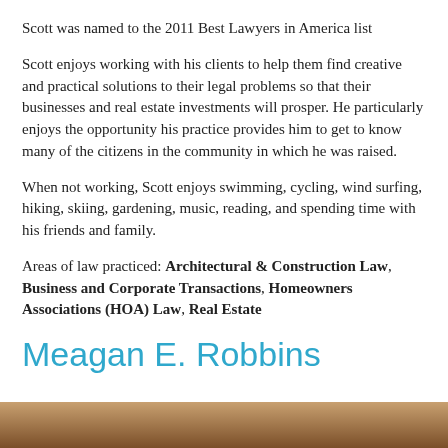Scott was named to the 2011 Best Lawyers in America list
Scott enjoys working with his clients to help them find creative and practical solutions to their legal problems so that their businesses and real estate investments will prosper. He particularly enjoys the opportunity his practice provides him to get to know many of the citizens in the community in which he was raised.
When not working, Scott enjoys swimming, cycling, wind surfing, hiking, skiing, gardening, music, reading, and spending time with his friends and family.
Areas of law practiced: Architectural & Construction Law, Business and Corporate Transactions, Homeowners Associations (HOA) Law, Real Estate
Meagan E. Robbins
[Figure (photo): Bottom portion of a photo, partially visible at the bottom of the page]